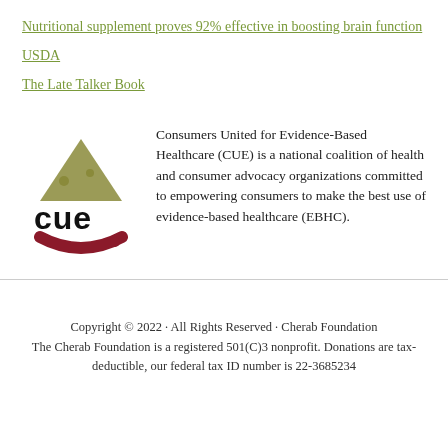Nutritional supplement proves 92% effective in boosting brain function
USDA
The Late Talker Book
[Figure (logo): CUE logo: stylized olive/gold mountain shape above bold text 'cue' with a dark red swoosh beneath]
Consumers United for Evidence-Based Healthcare (CUE) is a national coalition of health and consumer advocacy organizations committed to empowering consumers to make the best use of evidence-based healthcare (EBHC).
Copyright © 2022 · All Rights Reserved · Cherab Foundation
The Cherab Foundation is a registered 501(C)3 nonprofit. Donations are tax-deductible, our federal tax ID number is 22-3685234